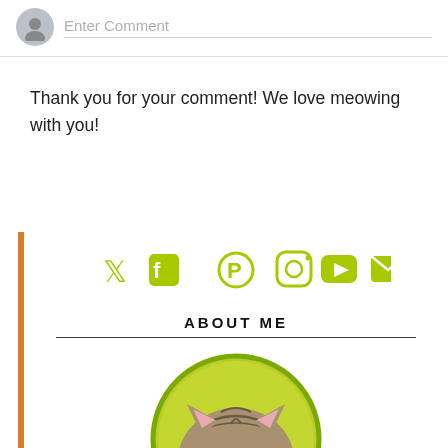Enter Comment
Thank you for your comment! We love meowing with you!
[Figure (infographic): Social media icons row: Twitter, Facebook, Pinterest, Instagram, YouTube, Email — all in yellow-green color]
ABOUT ME
[Figure (photo): Close-up photo of a tabby cat with green eyes, inside a circular frame with yellow-green background and green border]